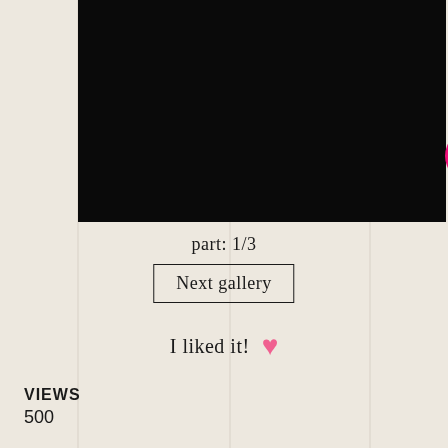[Figure (screenshot): Black video player area with a pink/magenta circular comment button in the top-right corner]
part: 1/3
Next gallery
I liked it! ♥
VIEWS
500